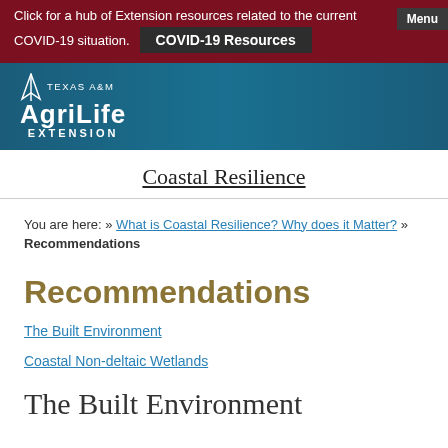Click for a hub of Extension resources related to the current COVID-19 situation. COVID-19 Resources Menu
[Figure (logo): Texas A&M AgriLife Extension logo on teal/blue bar]
Coastal Resilience
You are here: » What is Coastal Resilience? Why does it Matter? » Recommendations
Recommendations
The Built Environment
Coastal Non-deltaic Wetlands
The Built Environment